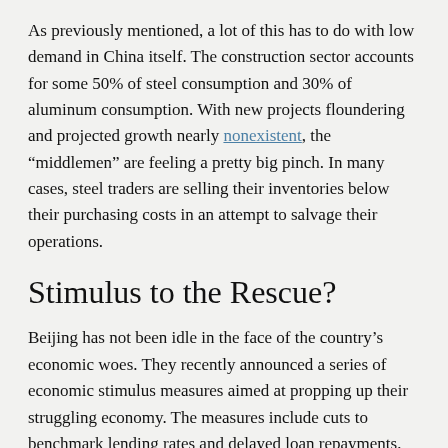As previously mentioned, a lot of this has to do with low demand in China itself. The construction sector accounts for some 50% of steel consumption and 30% of aluminum consumption. With new projects floundering and projected growth nearly nonexistent, the “middlemen” are feeling a pretty big pinch. In many cases, steel traders are selling their inventories below their purchasing costs in an attempt to salvage their operations.
Stimulus to the Rescue?
Beijing has not been idle in the face of the country’s economic woes. They recently announced a series of economic stimulus measures aimed at propping up their struggling economy. The measures include cuts to benchmark lending rates and delayed loan repayments, among other things. However, the capital has yet to back off its authoritarian COVID measures.
Most experts agree that China’s commitment to lockdowns and shutdowns is too big an economic disruptor for a simple stimulus to fix.
The metal marketplace moves fast. You can keep yourself properly